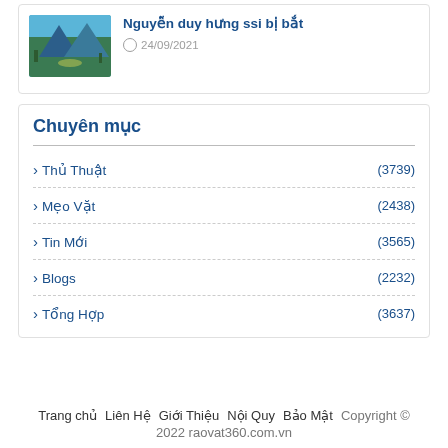[Figure (photo): Thumbnail image of a mountain lake scene with trees and sunlight]
Nguyễn duy hưng ssi bị bắt
24/09/2021
Chuyên mục
Thủ Thuật (3739)
Mẹo Vặt (2438)
Tin Mới (3565)
Blogs (2232)
Tổng Hợp (3637)
Trang chủ   Liên Hệ   Giới Thiệu   Nội Quy   Bảo Mật   Copyright © 2022 raovat360.com.vn